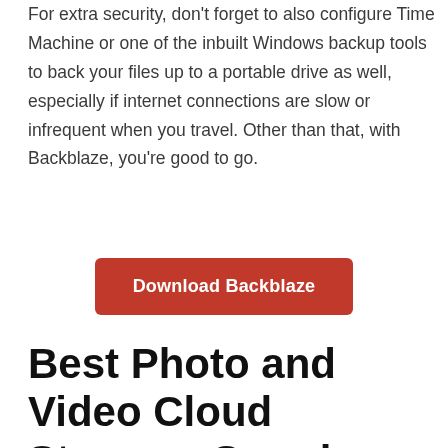For extra security, don't forget to also configure Time Machine or one of the inbuilt Windows backup tools to back your files up to a portable drive as well, especially if internet connections are slow or infrequent when you travel. Other than that, with Backblaze, you're good to go.
Download Backblaze
Best Photo and Video Cloud Storage: Google